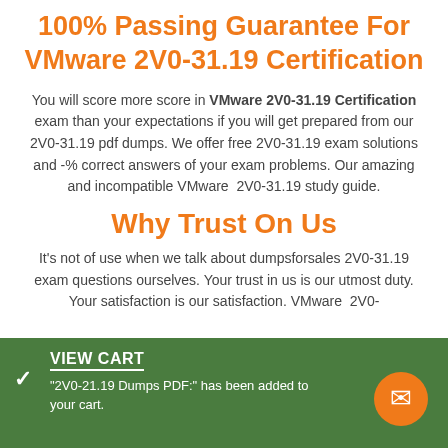100% Passing Guarantee For VMware 2V0-31.19 Certification
You will score more score in VMware 2V0-31.19 Certification exam than your expectations if you will get prepared from our 2V0-31.19 pdf dumps. We offer free 2V0-31.19 exam solutions and -% correct answers of your exam problems. Our amazing and incompatible VMware 2V0-31.19 study guide.
Why Trust On Us
It's not of use when we talk about dumpsforsales 2V0-31.19 exam questions ourselves. Your trust in us is our utmost duty. Your satisfaction is our satisfaction. VMware 2V0-
VIEW CART
"2V0-21.19 Dumps PDF:" has been added to your cart.